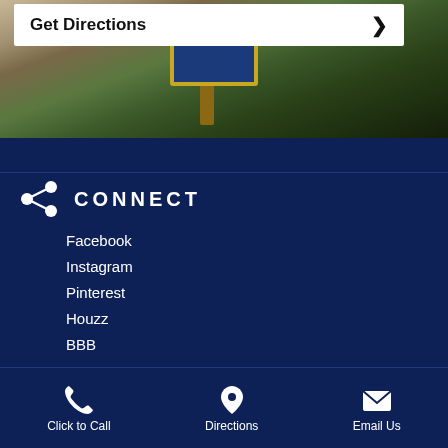Get Directions →
[Figure (photo): Outdoor photo showing a sign in a garden/landscaped area with plants and mulch]
CONNECT
Facebook
Instagram
Pinterest
Houzz
BBB
Click to Call   Directions   Email Us